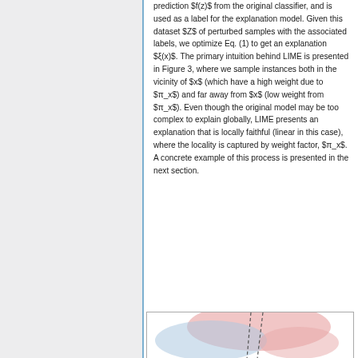prediction $f(z)$ from the original classifier, and is used as a label for the explanation model. Given this dataset $Z$ of perturbed samples with the associated labels, we optimize Eq. (1) to get an explanation $ξ(x)$. The primary intuition behind LIME is presented in Figure 3, where we sample instances both in the vicinity of $x$ (which have a high weight due to $π_x$) and far away from $x$ (low weight from $π_x$). Even though the original model may be too complex to explain globally, LIME presents an explanation that is locally faithful (linear in this case), where the locality is captured by weight factor, $π_x$. A concrete example of this process is presented in the next section.
[Figure (illustration): Bottom portion of a figure (Figure 3) showing a scatter plot or illustration related to LIME explanation methodology, with pink/salmon and light blue colored regions visible.]